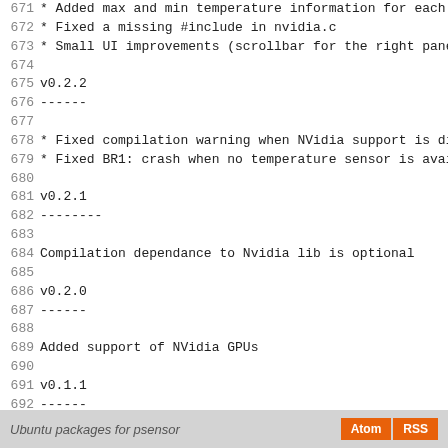671  * Added max and min temperature information for each s
672 * Fixed a missing #include in nvidia.c
673 * Small UI improvements (scrollbar for the right panel
674
675 v0.2.2
676 ------
677
678 * Fixed compilation warning when NVidia support is disa
679 * Fixed BR1: crash when no temperature sensor is availa
680
681 v0.2.1
682 --------
683
684 Compilation dependance to Nvidia lib is optional
685
686 v0.2.0
687 ------
688
689 Added support of NVidia GPUs
690
691 v0.1.1
692 ------
693
694 Improved right panel (list of sensors) + ability to dis
695
696 v0.1.0
697 ------
698
699 Initial release
Ubuntu packages for psensor  Atom  RSS